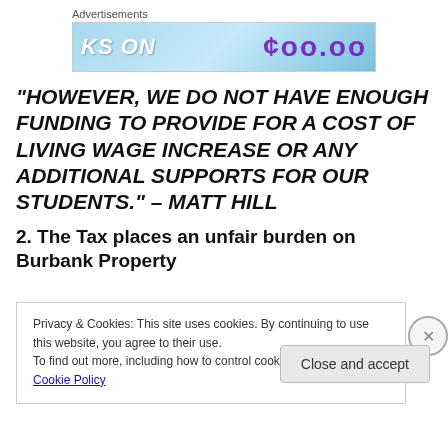[Figure (other): Advertisement banner with light blue gradient background, text 'KS ON' in white italic bold on left and '$00.00' style price in purple on right]
“HOWEVER, WE DO NOT HAVE ENOUGH FUNDING TO PROVIDE FOR A COST OF LIVING WAGE INCREASE OR ANY ADDITIONAL SUPPORTS FOR OUR STUDENTS.” – MATT HILL
2. The Tax places an unfair burden on Burbank Property
Privacy & Cookies: This site uses cookies. By continuing to use this website, you agree to their use.
To find out more, including how to control cookies, see here: Cookie Policy
Close and accept